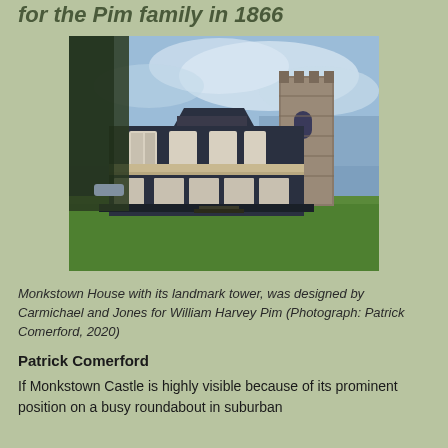for the Pim family in 1866
[Figure (photo): Monkstown House with its landmark stone tower and dark-painted Victorian house with white trim, set against a cloudy sky with green lawn in foreground. Photograph by Patrick Comerford, 2020.]
Monkstown House with its landmark tower, was designed by Carmichael and Jones for William Harvey Pim (Photograph: Patrick Comerford, 2020)
Patrick Comerford
If Monkstown Castle is highly visible because of its prominent position on a busy roundabout in suburban